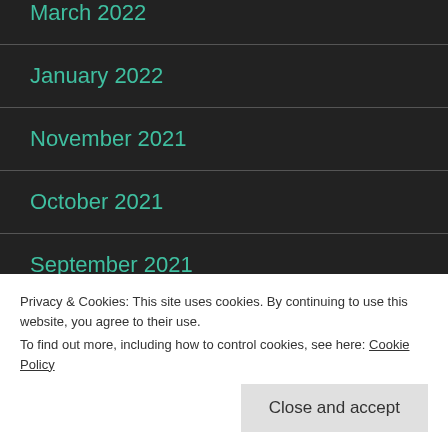March 2022
January 2022
November 2021
October 2021
September 2021
August 2021
Privacy & Cookies: This site uses cookies. By continuing to use this website, you agree to their use. To find out more, including how to control cookies, see here: Cookie Policy
March 2021